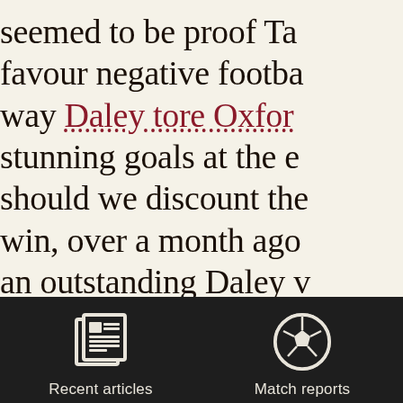seemed to be proof Ta favour negative footba way Daley tore Oxfor stunning goals at the e should we discount the win, over a month ago an outstanding Daley v

Is the relegation battle in all about backs to th out results, or should t
[Figure (screenshot): App navigation bar with dark background containing two icon buttons: 'Recent articles' (newspaper icon) and 'Match reports' (soccer ball icon)]